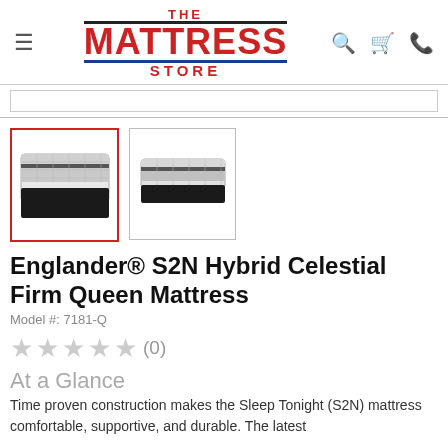THE MATTRESS STORE
[Figure (photo): Two thumbnail images of the Englander S2N Hybrid Celestial Firm Queen Mattress. First thumbnail is selected (red border), showing a front-angled view. Second thumbnail shows a side angled view.]
Englander® S2N Hybrid Celestial Firm Queen Mattress
Model #: 7181-Q
★★★★★ (0)
At a Glance
Time proven construction makes the Sleep Tonight (S2N) mattress comfortable, supportive, and durable. The latest